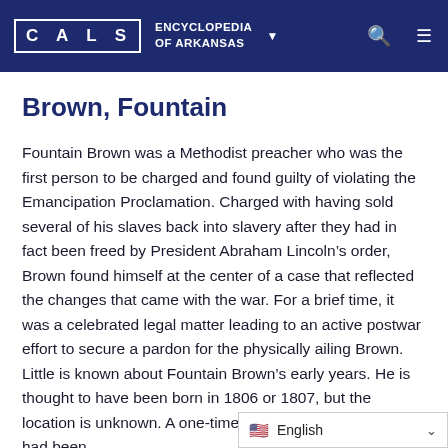CALS ENCYCLOPEDIA OF ARKANSAS
Brown, Fountain
Fountain Brown was a Methodist preacher who was the first person to be charged and found guilty of violating the Emancipation Proclamation. Charged with having sold several of his slaves back into slavery after they had in fact been freed by President Abraham Lincoln’s order, Brown found himself at the center of a case that reflected the changes that came with the war. For a brief time, it was a celebrated legal matter leading to an active postwar effort to secure a pardon for the physically ailing Brown. Little is known about Fountain Brown’s early years. He is thought to have been born in 1806 or 1807, but the location is unknown. A one-time resident of Tennessee, he had been ...